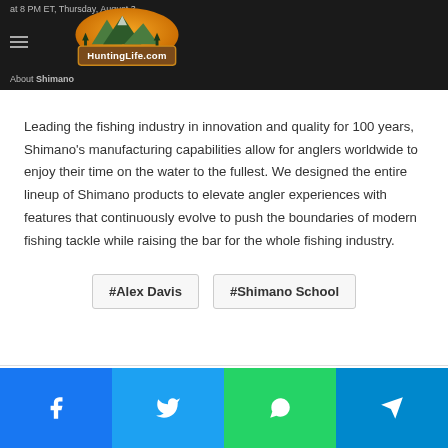at 8 PM ET, Thursday, August 3
[Figure (logo): HuntingLife.com logo with orange mountain/forest scene and text]
About Shimano
Leading the fishing industry in innovation and quality for 100 years, Shimano's manufacturing capabilities allow for anglers worldwide to enjoy their time on the water to the fullest. We designed the entire lineup of Shimano products to elevate angler experiences with features that continuously evolve to push the boundaries of modern fishing tackle while raising the bar for the whole fishing industry.
#Alex Davis
#Shimano School
[Figure (infographic): Social sharing bar with Facebook, Twitter, WhatsApp, and Telegram icons]